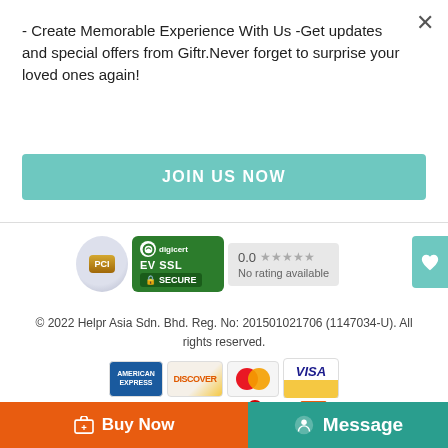- Create Memorable Experience With Us -Get updates and special offers from Giftr.Never forget to surprise your loved ones again!
JOIN US NOW
[Figure (logo): PCI badge, DigiCert EV SSL Secure badge, 0.0 star rating with 'No rating available' text, and heart icon button]
© 2022 Helpr Asia Sdn. Bhd. Reg. No: 201501021706 (1147034-U). All rights reserved.
[Figure (logo): Payment card logos: American Express, Discover, MasterCard, Visa]
[Figure (logo): Payment method logos: maybank2u.com, CIMB Clicks, RHB Now, affin bank, connect, FPX, PayPal]
Buy Now
Message